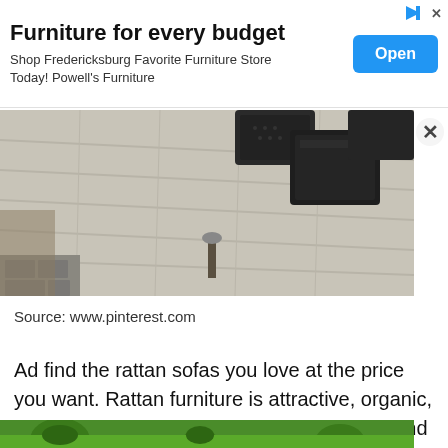[Figure (infographic): Advertisement banner for Powell's Furniture with Open button]
[Figure (photo): Outdoor deck with dark wicker/rattan furniture on wood planking, viewed from above]
Source: www.pinterest.com
Ad find the rattan sofas you love at the price you want. Rattan furniture is attractive, organic, and perfectly suited to gardens, balconies, and patios.
[Figure (photo): Green lawn with bushes/trees, partially visible at bottom of page]